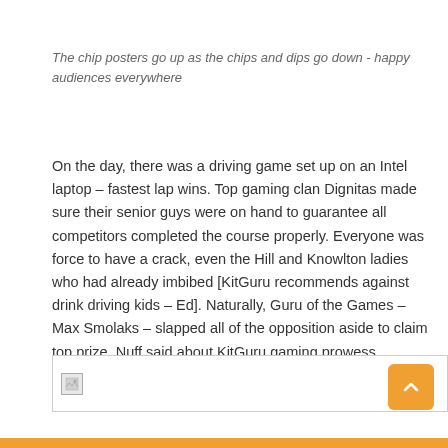The chip posters go up as the chips and dips go down - happy audiences everywhere
On the day, there was a driving game set up on an Intel laptop – fastest lap wins. Top gaming clan Dignitas made sure their senior guys were on hand to guarantee all competitors completed the course properly. Everyone was force to have a crack, even the Hill and Knowlton ladies who had already imbibed [KitGuru recommends against drink driving kids – Ed]. Naturally, Guru of the Games – Max Smolaks – slapped all of the opposition aside to claim top prize. Nuff said about KitGuru gaming prowess.
[Figure (photo): Broken image placeholder at bottom of page]